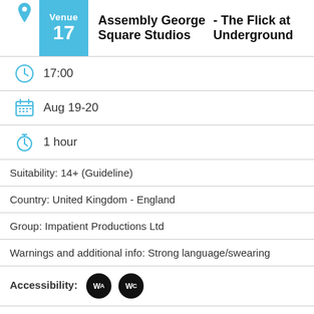Assembly George Square Studios - The Flick at Underground (Venue 17)
17:00
Aug 19-20
1 hour
Suitability: 14+ (Guideline)
Country: United Kingdom - England
Group: Impatient Productions Ltd
Warnings and additional info: Strong language/swearing
Accessibility: WA WC
May not apply to all performances. You'll find more information about accessibile performances and how to book